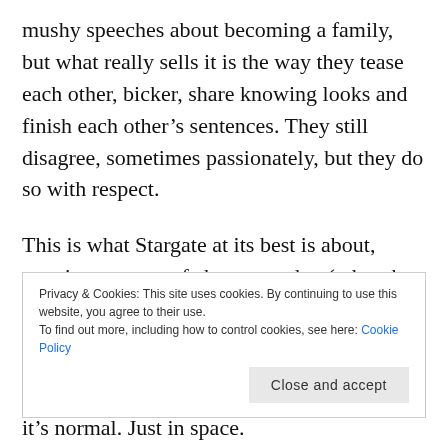mushy speeches about becoming a family, but what really sells it is the way they tease each other, bicker, share knowing looks and finish each other's sentences. They still disagree, sometimes passionately, but they do so with respect.
This is what Stargate at its best is about, creating a group of characters that (other than their magic scientists and engineers who are seemingly experts in everything) feel like they could have walked off the street. They make the same pop-culture jokes that I
Privacy & Cookies: This site uses cookies. By continuing to use this website, you agree to their use. To find out more, including how to control cookies, see here: Cookie Policy
Close and accept
it's normal. Just in space.